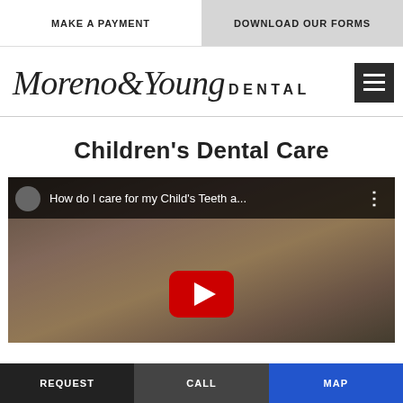MAKE A PAYMENT | DOWNLOAD OUR FORMS
[Figure (logo): Moreno & Young Dental logo with script and sans-serif text, followed by a hamburger menu icon]
Children's Dental Care
[Figure (screenshot): Embedded YouTube video thumbnail showing a baby, with title text: 'How do I care for my Child's Teeth a...' and a red play button in the center]
REQUEST | CALL | MAP